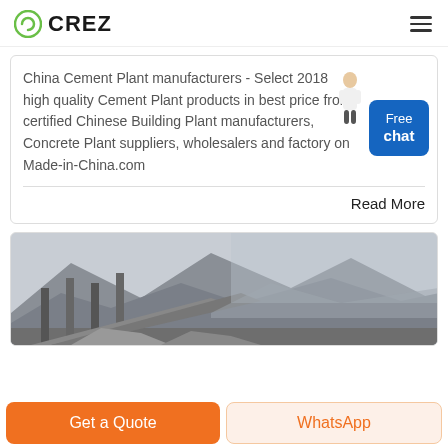CREZ
China Cement Plant manufacturers - Select 2018 high quality Cement Plant products in best price from certified Chinese Building Plant manufacturers, Concrete Plant suppliers, wholesalers and factory on Made-in-China.com
Read More
[Figure (photo): Photo of an industrial cement plant or quarry facility with mountains and rocky terrain in the background]
Get a Quote
WhatsApp